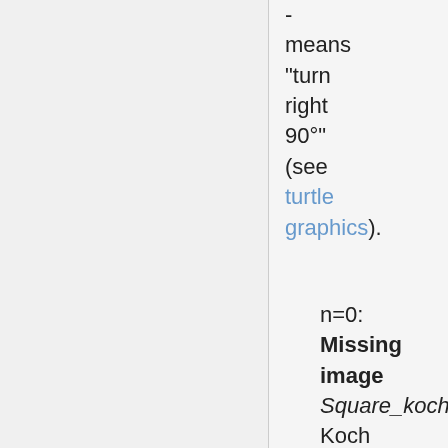- means "turn right 90°" (see turtle graphics).
n=0: Missing image Square_koch_0.p Koch Square - 0